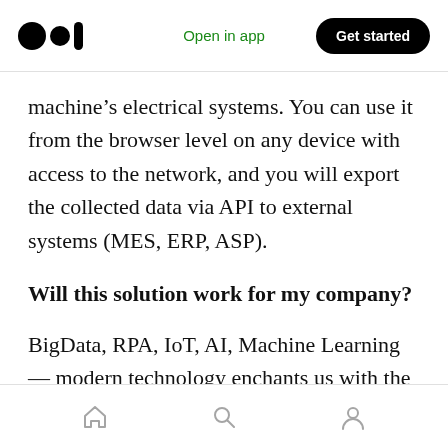Open in app | Get started
machine’s electrical systems. You can use it from the browser level on any device with access to the network, and you will export the collected data via API to external systems (MES, ERP, ASP).
Will this solution work for my company?
BigData, RPA, IoT, AI, Machine Learning — modern technology enchants us with the way of obtaining, dynamically processing and analyzing data, becoming an indispensable part of every enterprise. Whoever does not keep up with the revolution, will have to accept the failure — the
Home | Search | Profile